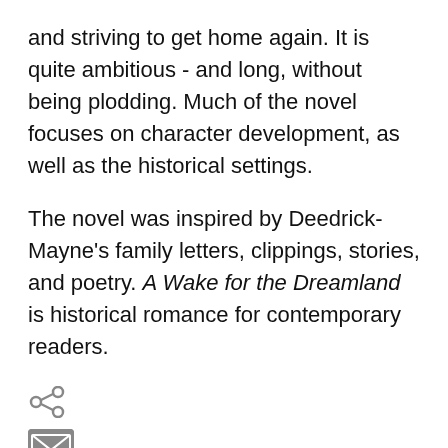and striving to get home again. It is quite ambitious - and long, without being plodding. Much of the novel focuses on character development, as well as the historical settings.
The novel was inspired by Deedrick-Mayne's family letters, clippings, stories, and poetry. A Wake for the Dreamland is historical romance for contemporary readers.
[Figure (other): Share icon (less-than symbol style) and email envelope icon displayed as interactive buttons]
A Wake for the Dreamland   book review   Lacombe   Laurel Deedrick-Mayne